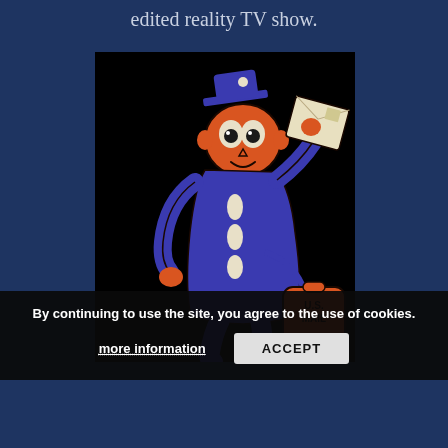edited reality TV show.
[Figure (illustration): Vintage cartoon illustration of a U.S. Mail postal carrier character with orange round head, big white eyes, blue uniform, holding a letter and carrying an orange U.S. Mail bag, on a black background.]
By continuing to use the site, you agree to the use of cookies. more information ACCEPT